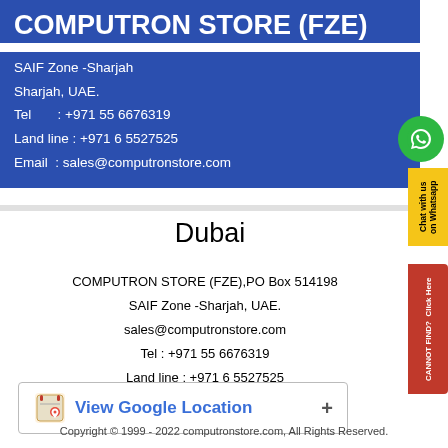COMPUTRON STORE (FZE)
SAIF Zone -Sharjah
Sharjah, UAE.
Tel      : +971 55 6676319
Land line : +971 6 5527525
Email  : sales@computronstore.com
Dubai
COMPUTRON STORE (FZE),PO Box 514198
SAIF Zone -Sharjah, UAE.
sales@computronstore.com
Tel : +971 55 6676319
Land line : +971 6 5527525
View Google Location +
Copyright © 1999 - 2022 computronstore.com, All Rights Reserved.